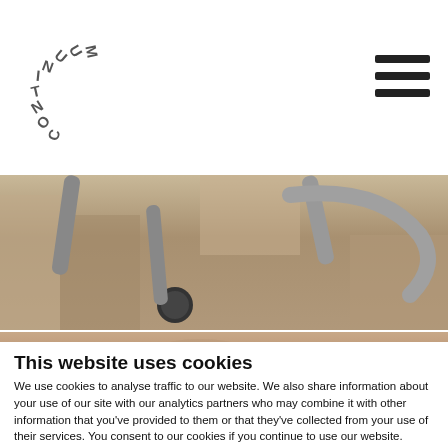[Figure (logo): CONTINUUM text arranged in an arc/curve forming a circular logo shape, in dark gray color]
[Figure (photo): Close-up photo of stethoscope components on a concrete or stone surface, showing metal tubes and chest piece]
[Figure (photo): Partial view of another photo showing a person's hands or skin tones]
This website uses cookies
We use cookies to analyse traffic to our website. We also share information about your use of our site with our analytics partners who may combine it with other information that you’ve provided to them or that they’ve collected from your use of their services. You consent to our cookies if you continue to use our website.
OK
Necessary   Preferences   Statistics   Marketing   Show details